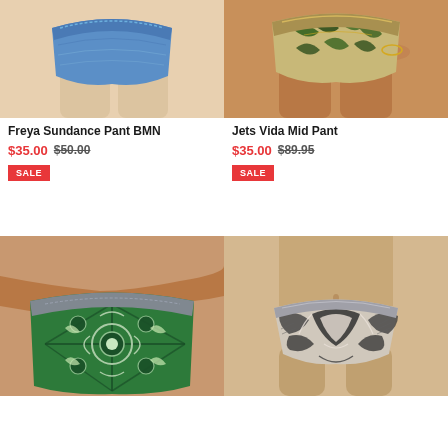[Figure (photo): Blue patterned bikini bottom worn by a model, upper portion cropped]
[Figure (photo): Tropical leaf print bikini bottom worn by a tanned model]
Freya Sundance Pant BMN
$35.00 $50.00
SALE
Jets Vida Mid Pant
$35.00 $89.95
SALE
[Figure (photo): Close-up of green ornate mosaic/mandala print high-waist bikini bottom]
[Figure (photo): Black and white floral print bikini bottom worn by a model]